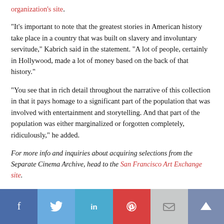organization's site.
“It’s important to note that the greatest stories in American history take place in a country that was built on slavery and involuntary servitude,” Kabrich said in the statement. “A lot of people, certainly in Hollywood, made a lot of money based on the back of that history.”
“You see that in rich detail throughout the narrative of this collection in that it pays homage to a significant part of the population that was involved with entertainment and storytelling. And that part of the population was either marginalized or forgotten completely, ridiculously,” he added.
For more info and inquiries about acquiring selections from the Separate Cinema Archive, head to the San Francisco Art Exchange site.
[Figure (infographic): Social media sharing bar with buttons for Facebook, Twitter, LinkedIn, Pinterest, email, and a scroll-to-top button.]